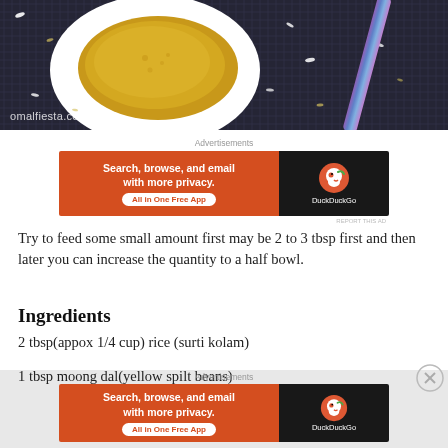[Figure (photo): Overhead photo of a white bowl containing yellow millet/khichdi porridge on a dark woven mat background with rice grains scattered around and a colorful blue-purple chopstick/spoon, with watermark 'omalfiesta.com']
omalfiesta.com
[Figure (other): DuckDuckGo advertisement banner: 'Search, browse, and email with more privacy. All in One Free App' with DuckDuckGo logo on dark background]
Try to feed some small amount first may be 2 to 3 tbsp first and then later you can increase the quantity to a half bowl.
Ingredients
2 tbsp(appox 1/4 cup) rice (surti kolam)
1 tbsp moong dal(yellow spilt beans)
[Figure (other): DuckDuckGo advertisement banner: 'Search, browse, and email with more privacy. All in One Free App' with DuckDuckGo logo on dark background]